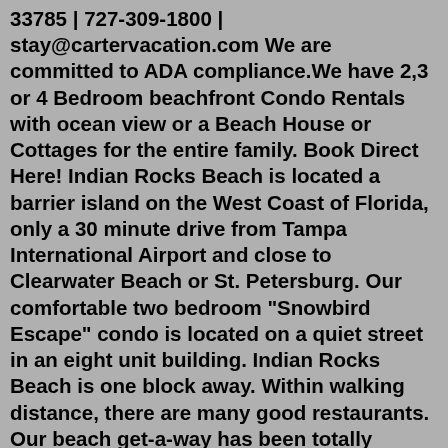33785 | 727-309-1800 | stay@cartervacation.com We are committed to ADA compliance.We have 2,3 or 4 Bedroom beachfront Condo Rentals with ocean view or a Beach House or Cottages for the entire family. Book Direct Here! Indian Rocks Beach is located a barrier island on the West Coast of Florida, only a 30 minute drive from Tampa International Airport and close to Clearwater Beach or St. Petersburg. Our comfortable two bedroom "Snowbird Escape" condo is located on a quiet street in an eight unit building. Indian Rocks Beach is one block away. Within walking distance, there are many good restaurants. Our beach get-a-way has been totally renovated. Kitchen includes a glass-top range, B/I microwave, and a super quiet dishwasher.Indian Rocks Beach, FL 33785 Contact property Brokered by GULF TO BAY REAL ESTATE For Rent - Condo $2,300 2 bed 1 bath 955 sqft 1 Windrush Blvd Apt 50 Indian Rocks Beach, FL 33785 Contact property... Learn more about wedding rentals in Indian Rocks Beach on The Knot. Find, research and contact wedding professionals...